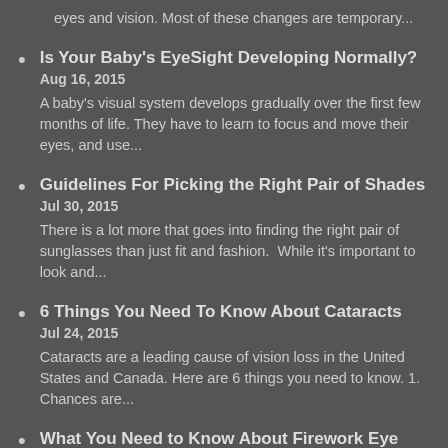eyes and vision. Most of these changes are temporary...
Is Your Baby's EyeSight Developing Normally?
Aug 16, 2015
A baby's visual system develops gradually over the first few months of life. They have to learn to focus and move their eyes, and use...
Guidelines For Picking the Right Pair of Shades
Jul 30, 2015
There is a lot more that goes into finding the right pair of sunglasses than just fit and fashion.  While it's important to look and...
6 Things You Need To Know About Cataracts
Jul 24, 2015
Cataracts are a leading cause of vision loss in the United States and Canada. Here are 6 things you need to know. 1. Chances are...
What You Need to Know About Firework Eye Safety
Jul 21, 2015